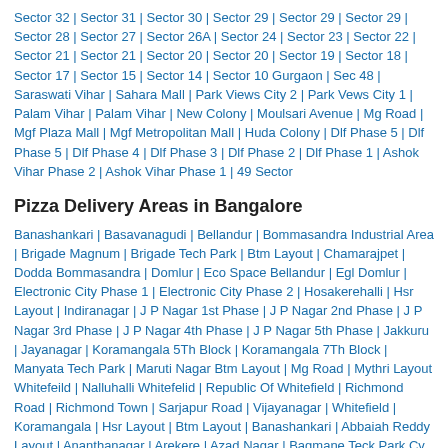Sector 32 | Sector 31 | Sector 30 | Sector 29 | Sector 29 | Sector 29 | Sector 28 | Sector 27 | Sector 26A | Sector 24 | Sector 23 | Sector 22 | Sector 21 | Sector 21 | Sector 20 | Sector 20 | Sector 19 | Sector 18 | Sector 17 | Sector 15 | Sector 14 | Sector 10 Gurgaon | Sec 48 | Saraswati Vihar | Sahara Mall | Park Views City 2 | Park Vews City 1 | Palam Vihar | Palam Vihar | New Colony | Moulsari Avenue | Mg Road | Mgf Plaza Mall | Mgf Metropolitan Mall | Huda Colony | Dlf Phase 5 | Dlf Phase 5 | Dlf Phase 4 | Dlf Phase 3 | Dlf Phase 2 | Dlf Phase 1 | Ashok Vihar Phase 2 | Ashok Vihar Phase 1 | 49 Sector
Pizza Delivery Areas in Bangalore
Banashankari | Basavanagudi | Bellandur | Bommasandra Industrial Area | Brigade Magnum | Brigade Tech Park | Btm Layout | Chamarajpet | Dodda Bommasandra | Domlur | Eco Space Bellandur | Egl Domlur | Electronic City Phase 1 | Electronic City Phase 2 | Hosakerehalli | Hsr Layout | Indiranagar | J P Nagar 1st Phase | J P Nagar 2nd Phase | J P Nagar 3rd Phase | J P Nagar 4th Phase | J P Nagar 5th Phase | Jakkuru | Jayanagar | Koramangala 5Th Block | Koramangala 7Th Block | Manyata Tech Park | Maruti Nagar Btm Layout | Mg Road | Mythri Layout Whitefeild | Nalluhalli Whitefelid | Republic Of Whitefield | Richmond Road | Richmond Town | Sarjapur Road | Vijayanagar | Whitefield | Koramangala | Hsr Layout | Btm Layout | Banashankari | Abbaiah Reddy Layout | Ananthanagar | Arekere | Azad Nagar | Bagmane Teck Park Cv Raman | Banaswadi | Bannergatta Main Road | Basavanapura | Basaveswara Nagar | Bda Layout | Bennigana Halli | Brookefield | Cox Town | Cunningham Road | Cv Raman Nagar | Dwarka Nagar | Ejipura | Embassy Tech Square | Embassy Tech Village | Frazer Town | Hal | Harlur Road | Hbr | Hebbal | Hoodi | Hope Farm | Horamavu | Hosa Road | IIM Bangalore | ITPL | Jakasandra | Jakkuru | Jalahalli | Kadugodi | Kaggadasapura | Kalappa Layout | Kasthuri Nagar | Kongori | Kundanahalli Colony | Lakkasandra